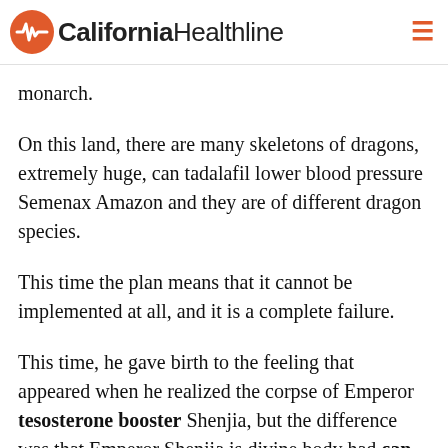California Healthline
monarch.
On this land, there are many skeletons of dragons, extremely huge, can tadalafil lower blood pressure Semenax Amazon and they are of different dragon species.
This time the plan means that it cannot be implemented at all, and it is a complete failure.
This time, he gave birth to the feeling that appeared when he realized the corpse of Emperor tesosterone booster Shenjia, but the difference was that Emperor Shenjia is divine body had can tadalafil lower blood